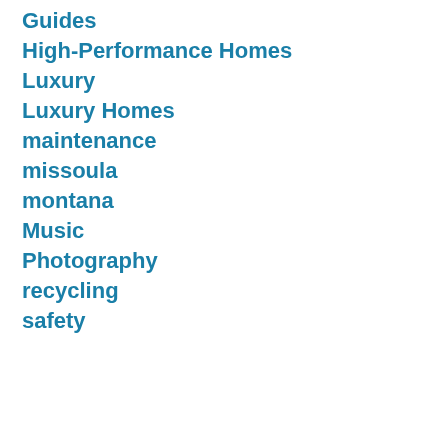Guides
High-Performance Homes
Luxury
Luxury Homes
maintenance
missoula
montana
Music
Photography
recycling
safety